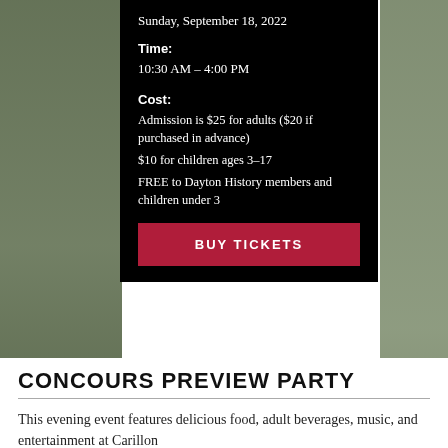Sunday, September 18, 2022
Time:
10:30 AM – 4:00 PM
Cost:
Admission is $25 for adults ($20 if purchased in advance)
$10 for children ages 3–17
FREE to Dayton History members and children under 3
BUY TICKETS
CONCOURS PREVIEW PARTY
This evening event features delicious food, adult beverages, music, and entertainment at Carillon